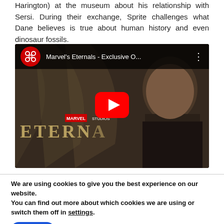Harington) at the museum about his relationship with Sersi. During their exchange, Sprite challenges what Dane believes is true about human history and even dinosaur fossils.
[Figure (screenshot): YouTube video thumbnail for Marvel's Eternals - Exclusive O... showing a man in a dark setting with a cathedral background. YouTube logo in top left, video title in top bar, Marvel Studios branding, ETERNALS text at bottom, red YouTube play button in center.]
We are using cookies to give you the best experience on our website.
You can find out more about which cookies we are using or switch them off in settings.